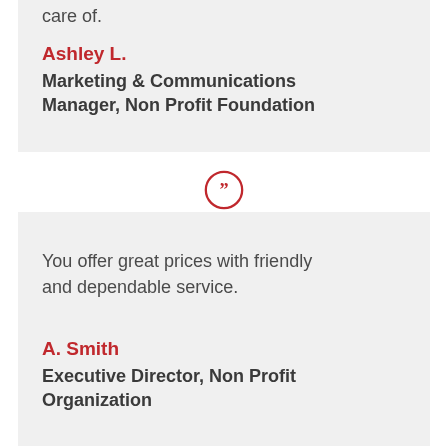care of.
Ashley L.
Marketing & Communications Manager, Non Profit Foundation
[Figure (illustration): Red circle with closing double quotation marks icon]
You offer great prices with friendly and dependable service.
A. Smith
Executive Director, Non Profit Organization
[Figure (illustration): Red circle with closing double quotation marks icon (partial, bottom of page)]